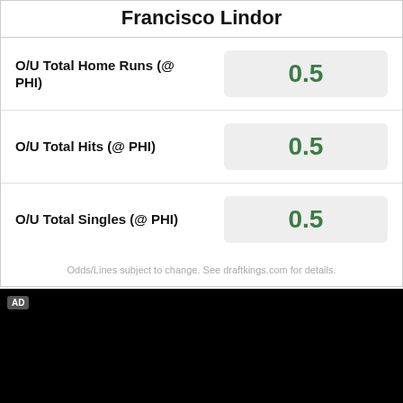Francisco Lindor
| Stat | Value |
| --- | --- |
| O/U Total Home Runs (@ PHI) | 0.5 |
| O/U Total Hits (@ PHI) | 0.5 |
| O/U Total Singles (@ PHI) | 0.5 |
Odds/Lines subject to change. See draftkings.com for details.
[Figure (other): Black advertisement panel with AD badge in top-left corner]